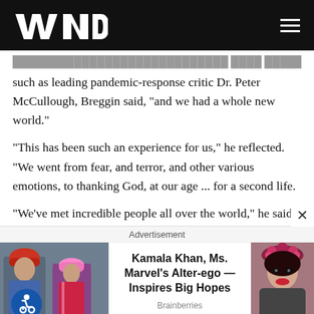WND
such as leading pandemic-response critic Dr. Peter McCullough, Breggin said, "and we had a whole new world."
"This has been such an experience for us," he reflected. "We went from fear, and terror, and other various emotions, to thanking God, at our age ... for a second life.
"We've met incredible people all over the world," he said.
Advertisement
[Figure (other): Advertisement banner for 'Kamala Khan, Ms. Marvel's Alter-ego — Inspires Big Hopes' from Brainberries, with two images on left and right sides.]